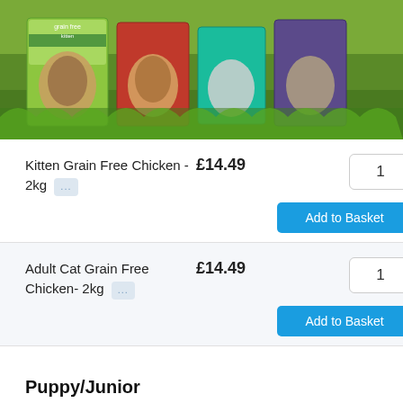[Figure (photo): Product image showing multiple grain-free cat food packages (kitten and adult varieties) arranged on green grass background]
Kitten Grain Free Chicken - 2kg ... £14.49 1 Add to Basket
Adult Cat Grain Free Chicken- 2kg ... £14.49 1 Add to Basket
Puppy/Junior